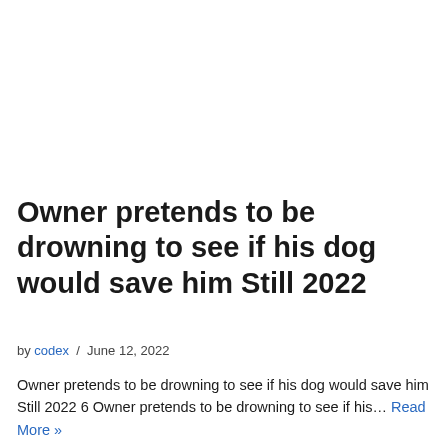Owner pretends to be drowning to see if his dog would save him Still 2022
by codex / June 12, 2022
Owner pretends to be drowning to see if his dog would save him Still 2022 6 Owner pretends to be drowning to see if his… Read More »